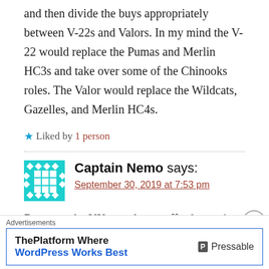and then divide the buys appropriately between V-22s and Valors. In my mind the V-22 would replace the Pumas and Merlin HC3s and take over some of the Chinooks roles. The Valor would replace the Wildcats, Gazelles, and Merlin HC4s.
★ Liked by 1 person
Captain Nemo says: September 30, 2019 at 7:53 pm
Dowcett, the UK can always afford to wait, well
Advertisements
ThePlatform Where WordPress Works Best | Pressable